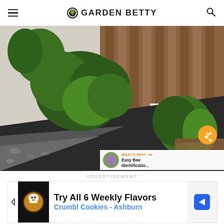GARDEN BETTY
[Figure (photo): A garden bed with green leafy plants including tomatoes and other vegetables growing against a wooden fence, with dark soil visible in the foreground. A share button and 'What's Next - Easy Bee Identificatio...' overlay are visible in the lower right corner of the image.]
ADVERTISEMENT
[Figure (screenshot): Advertisement banner: 'Try All 6 Weekly Flavors / Crumbl Cookies - Ashburn' with a cookie logo icon on the left and a blue navigation arrow icon.]